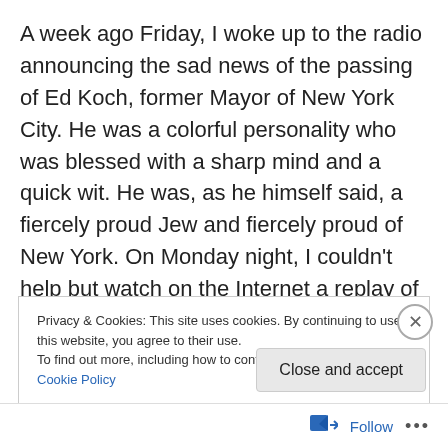A week ago Friday, I woke up to the radio announcing the sad news of the passing of Ed Koch, former Mayor of New York City. He was a colorful personality who was blessed with a sharp mind and a quick wit. He was, as he himself said, a fiercely proud Jew and fiercely proud of New York. On Monday night, I couldn't help but watch on the Internet a replay of the entire funeral service that day at Temple Emanuel in New York. I was moved by all of the tributes to this larger-than-life person who was at the same time so human. He was praised by his nephews and niece, Mayor
Privacy & Cookies: This site uses cookies. By continuing to use this website, you agree to their use.
To find out more, including how to control cookies, see here: Cookie Policy
Close and accept
Follow